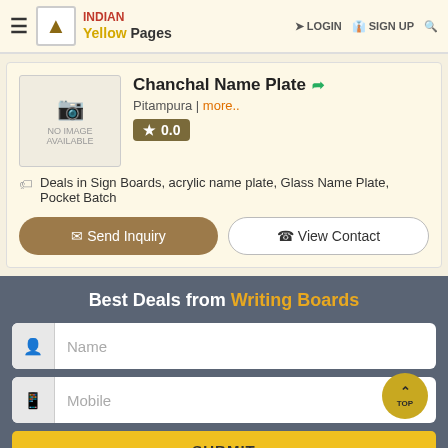Indian Yellow Pages — LOGIN  SIGN UP
Chanchal Name Plate
Pitampura | more..
0.0
Deals in Sign Boards, acrylic name plate, Glass Name Plate, Pocket Batch
Send Inquiry
View Contact
Best Deals from Writing Boards
Name
Mobile
SUBMIT
FILTER BY CITY